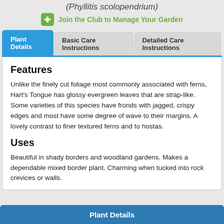(Phyllitis scolopendrium)
Join the Club to Manage Your Garden
Features
Unlike the finely cut foliage most commonly associated with ferns, Hart's Tongue has glossy evergreen leaves that are strap-like. Some varieties of this species have fronds with jagged, crispy edges and most have some degree of wave to their margins. A lovely contrast to finer textured ferns and to hostas.
Uses
Beautiful in shady borders and woodland gardens. Makes a dependable mixed border plant. Charming when tucked into rock crevices or walls.
Plant Details